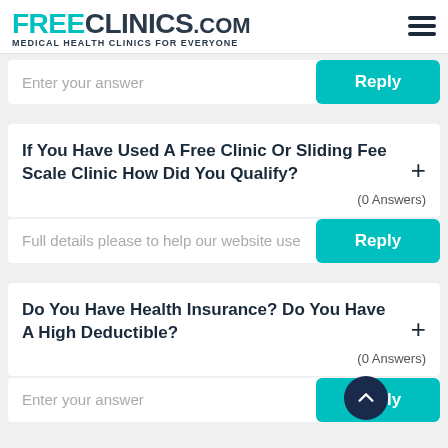FREE CLINICS.COM — Medical Health Clinics For Everyone
Enter your answer
Reply
If You Have Used A Free Clinic Or Sliding Fee Scale Clinic How Did You Qualify?
(0 Answers)
Full details please to help our website use
Reply
Do You Have Health Insurance? Do You Have A High Deductible?
(0 Answers)
Enter your answer
Reply